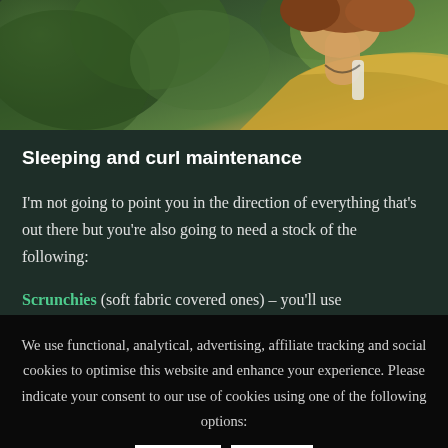[Figure (photo): Partial photo of a woman with curly hair outdoors among green foliage and warm sunlight]
Sleeping and curl maintenance
I'm not going to point you in the direction of everything that's out there but you're also going to need a stock of the following:
Scrunchies (soft fabric covered ones) – you'll use
We use functional, analytical, advertising, affiliate tracking and social cookies to optimise this website and enhance your experience. Please indicate your consent to our use of cookies using one of the following options:
Accept | Reject | Read More